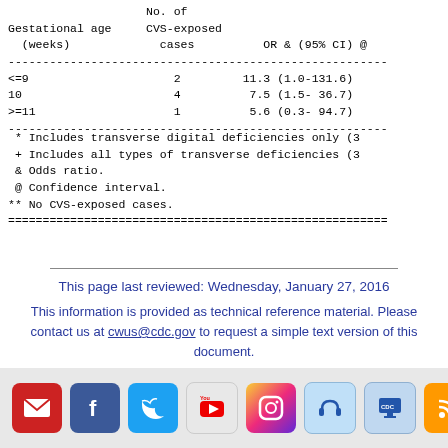| Gestational age (weeks) | No. of CVS-exposed cases | OR & (95% CI) @ |
| --- | --- | --- |
| <=9 | 2 | 11.3 (1.0-131.6) |
| 10 | 4 | 7.5 (1.5- 36.7) |
| >=11 | 1 | 5.6 (0.3- 94.7) |
* Includes transverse digital deficiencies only (3...
+ Includes all types of transverse deficiencies (3...
& Odds ratio.
@ Confidence interval.
** No CVS-exposed cases.
This page last reviewed: Wednesday, January 27, 2016
This information is provided as technical reference material. Please contact us at cwus@cdc.gov to request a simple text version of this document.
Social media icons: Email, Facebook, Twitter, YouTube, Instagram, Podcast, CDC, RSS, TOP